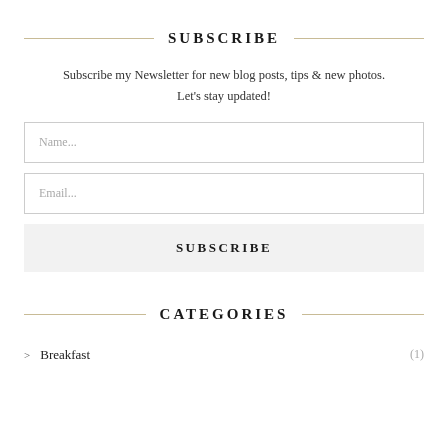SUBSCRIBE
Subscribe my Newsletter for new blog posts, tips & new photos. Let's stay updated!
Name...
Email...
SUBSCRIBE
CATEGORIES
> Breakfast (1)